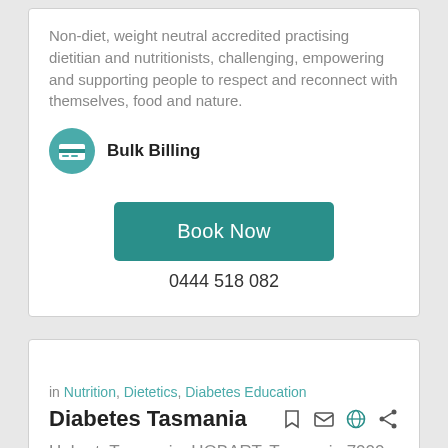Non-diet, weight neutral accredited practising dietitian and nutritionists, challenging, empowering and supporting people to respect and reconnect with themselves, food and nature.
Bulk Billing
Book Now
0444 518 082
in Nutrition, Dietetics, Diabetes Education
Diabetes Tasmania
Hobart, Tasmania, HOBART, Tasmania 7000
Diabetes Tasmania delivers free diabetes education throughout Tasmania.